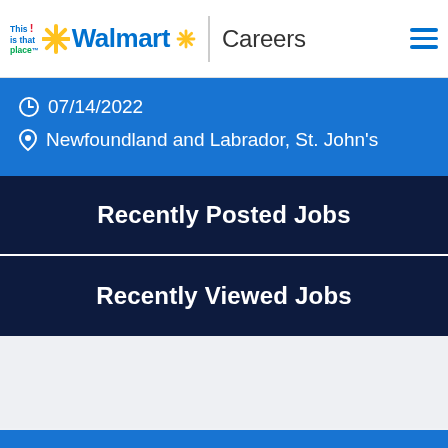This is that place | Walmart Careers
07/14/2022
Newfoundland and Labrador, St. John's
Recently Posted Jobs
Recently Viewed Jobs